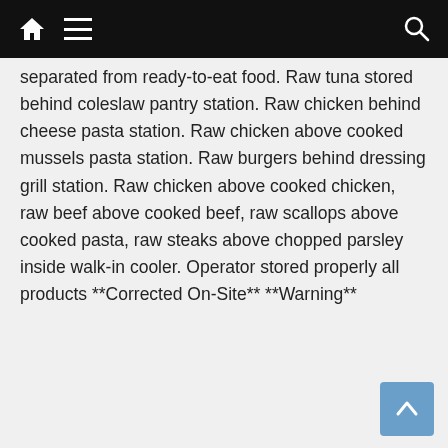[navigation bar with home, menu, and search icons]
separated from ready-to-eat food. Raw tuna stored behind coleslaw pantry station. Raw chicken behind cheese pasta station. Raw chicken above cooked mussels pasta station. Raw burgers behind dressing grill station. Raw chicken above cooked chicken, raw beef above cooked beef, raw scallops above cooked pasta, raw steaks above chopped parsley inside walk-in cooler. Operator stored properly all products **Corrected On-Site** **Warning**